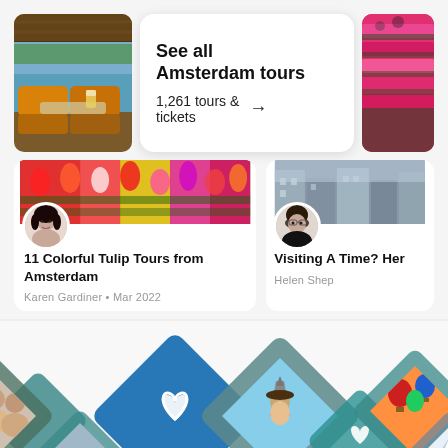[Figure (screenshot): Boat tour interior photo - wooden ceiling, colorful cushioned seats, canal view]
See all Amsterdam tours
1,261 tours & tickets →
[Figure (photo): Pink and red tulip field photo]
[Figure (photo): Colorful red, orange, yellow tulip field banner]
[Figure (photo): Avatar of Karen Gardiner - woman with dark hair]
11 Colorful Tulip Tours from Amsterdam
Karen Gardiner • Mar 2022
[Figure (photo): City street banner photo partially visible]
[Figure (photo): Avatar of Helen Shepherd - woman with glasses]
Visiting A Time? Her
Helen Shep
[Figure (infographic): Bottom section with teal/blue diamond hexagon shapes containing heart icons and travel photos (Eiffel Tower, hot air balloons, couples, mountains)]